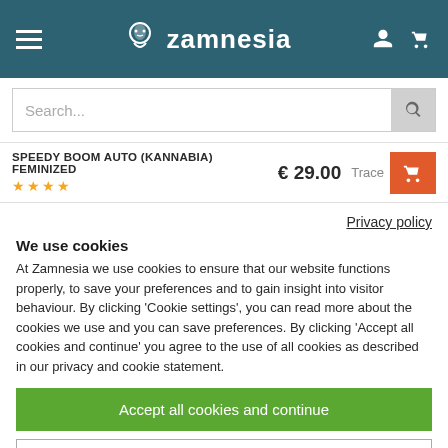[Figure (screenshot): Zamnesia website header with hamburger menu, logo, user and cart icons on teal/dark cyan background]
[Figure (screenshot): Search bar with placeholder 'Search...' and magnifying glass button]
SPEEDY BOOM AUTO (KANNABIA) FEMINIZED € 29.00 Trace
Privacy policy
We use cookies
At Zamnesia we use cookies to ensure that our website functions properly, to save your preferences and to gain insight into visitor behaviour. By clicking 'Cookie settings', you can read more about the cookies we use and you can save preferences. By clicking 'Accept all cookies and continue' you agree to the use of all cookies as described in our privacy and cookie statement.
Accept all cookies and continue
Cookie settings